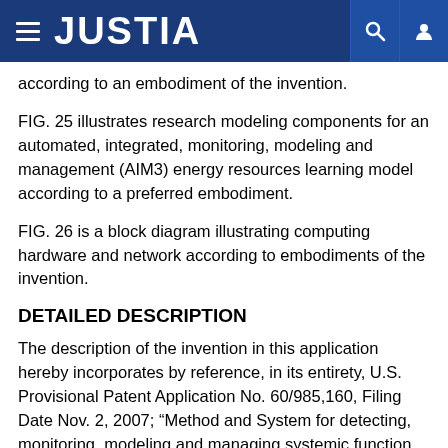JUSTIA
according to an embodiment of the invention.
FIG. 25 illustrates research modeling components for an automated, integrated, monitoring, modeling and management (AIM3) energy resources learning model according to a preferred embodiment.
FIG. 26 is a block diagram illustrating computing hardware and network according to embodiments of the invention.
DETAILED DESCRIPTION
The description of the invention in this application hereby incorporates by reference, in its entirety, U.S. Provisional Patent Application No. 60/985,160, Filing Date Nov. 2, 2007; “Method and System for detecting, monitoring, modeling and managing systemic function